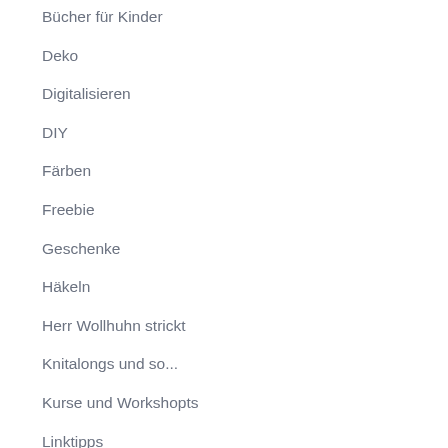Bücher für Kinder
Deko
Digitalisieren
DIY
Färben
Freebie
Geschenke
Häkeln
Herr Wollhuhn strickt
Knitalongs und so...
Kurse und Workshopts
Linktipps